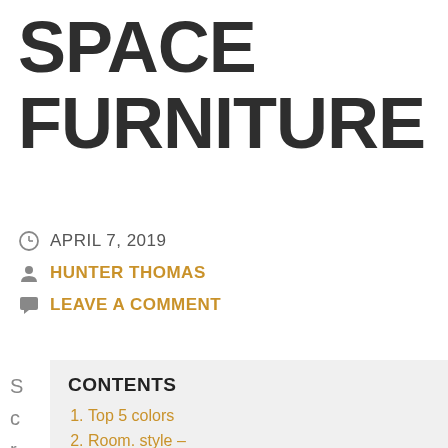SPACE FURNITURE
APRIL 7, 2019
HUNTER THOMAS
LEAVE A COMMENT
CONTENTS
Top 5 colors
Room. style –
Working area today. check